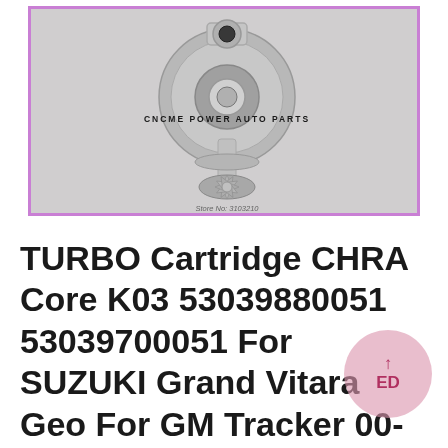[Figure (photo): Close-up photo of a turbocharger CHRA (Center Housing Rotating Assembly) / cartridge core part, showing metallic shaft and turbine wheel components on a grey background. Watermark text 'CNCME POWER AUTO PARTS' is visible in the center and 'Store No: 3103210' at the bottom. Image is framed with a purple/lavender border.]
TURBO Cartridge CHRA Core K03 53039880051 53039700051 For SUZUKI Grand Vitara Geo For GM Tracker 00-08 DW10ATED RHW RHZ 8v 2.0L